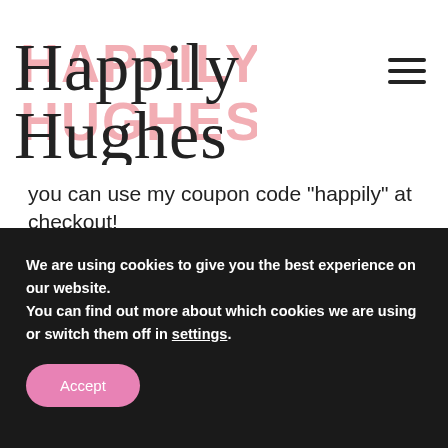Happily Hughes
you can use my coupon code "happily" at checkout!
We are using cookies to give you the best experience on our website.
You can find out more about which cookies we are using or switch them off in settings.
Accept